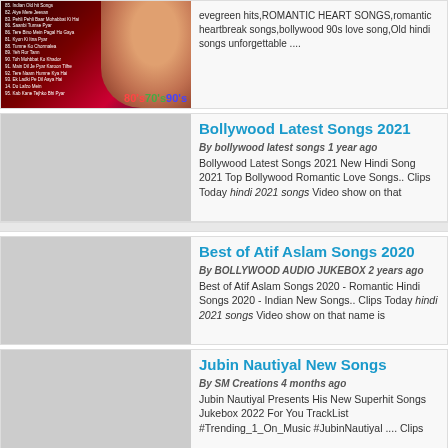[Figure (screenshot): Thumbnail for 80s 70s 90s Hindi songs playlist with woman's face and song list]
evegreen hits,ROMANTIC HEART SONGS,romantic heartbreak songs,bollywood 90s love song,Old hindi songs unforgettable ....
Bollywood Latest Songs 2021
By bollywood latest songs 1 year ago
Bollywood Latest Songs 2021 New Hindi Song 2021 Top Bollywood Romantic Love Songs.. Clips Today hindi 2021 songs Video show on that
Best of Atif Aslam Songs 2020
By BOLLYWOOD AUDIO JUKEBOX 2 years ago
Best of Atif Aslam Songs 2020 - Romantic Hindi Songs 2020 - Indian New Songs.. Clips Today hindi 2021 songs Video show on that name is
Jubin Nautiyal New Songs
By SM Creations 4 months ago
Jubin Nautiyal Presents His New Superhit Songs Jukebox 2022 For You TrackList #Trending_1_On_Music #JubinNautiyal .... Clips